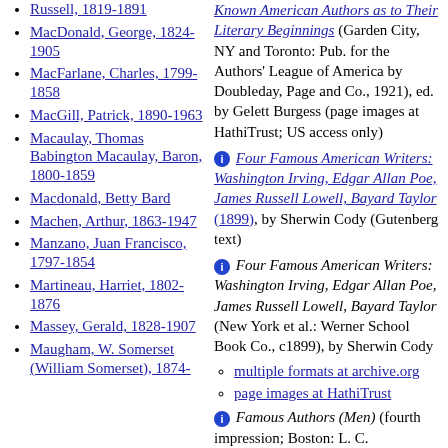Russell, 1819-1891
MacDonald, George, 1824-1905
MacFarlane, Charles, 1799-1858
MacGill, Patrick, 1890-1963
Macaulay, Thomas Babington Macaulay, Baron, 1800-1859
Macdonald, Betty Bard
Machen, Arthur, 1863-1947
Manzano, Juan Francisco, 1797-1854
Martineau, Harriet, 1802-1876
Massey, Gerald, 1828-1907
Maugham, W. Somerset (William Somerset), 1874-1965
Known American Authors as to Their Literary Beginnings (Garden City, NY and Toronto: Pub. for the Authors' League of America by Doubleday, Page and Co., 1921), ed. by Gelett Burgess (page images at HathiTrust; US access only)
Four Famous American Writers: Washington Irving, Edgar Allan Poe, James Russell Lowell, Bayard Taylor (1899), by Sherwin Cody (Gutenberg text)
Four Famous American Writers: Washington Irving, Edgar Allan Poe, James Russell Lowell, Bayard Taylor (New York et al.: Werner School Book Co., c1899), by Sherwin Cody
multiple formats at archive.org
page images at HathiTrust
Famous Authors (Men) (fourth impression; Boston: L. C.